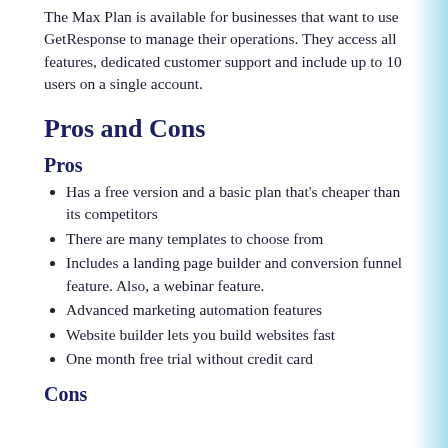The Max Plan is available for businesses that want to use GetResponse to manage their operations. They access all features, dedicated customer support and include up to 10 users on a single account.
Pros and Cons
Pros
Has a free version and a basic plan that's cheaper than its competitors
There are many templates to choose from
Includes a landing page builder and conversion funnel feature. Also, a webinar feature.
Advanced marketing automation features
Website builder lets you build websites fast
One month free trial without credit card
Cons